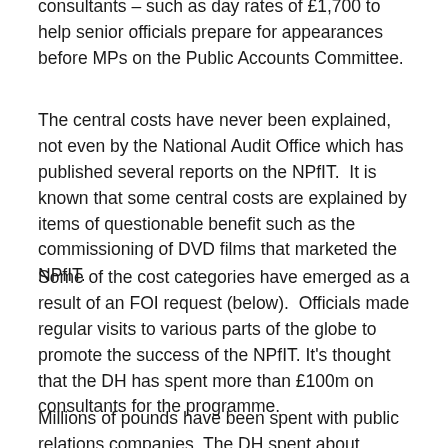consultants – such as day rates of £1,700 to help senior officials prepare for appearances before MPs on the Public Accounts Committee.
The central costs have never been explained, not even by the National Audit Office which has published several reports on the NPfIT.  It is known that some central costs are explained by items of questionable benefit such as the commissioning of DVD films that marketed the NPfIT.
Some of the cost categories have emerged as a result of an FOI request (below).  Officials made regular visits to various parts of the globe to promote the success of the NPfIT. It's thought that the DH has spent more than £100m on consultants for the programme.
Millions of pounds have been spent with public relations companies. The DH spent about £30,000 on press